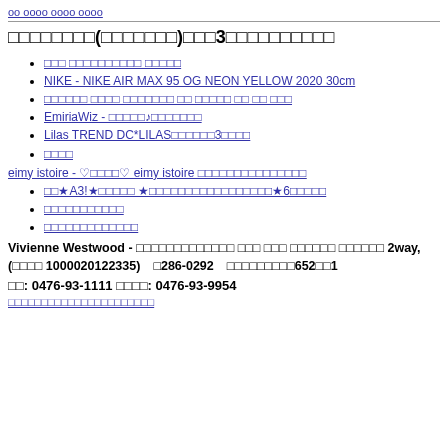oo oooo oooo oooo
□□□□□□□□(□□□□□□□)□□□3□□□□□□□□□□
□□□ □□□□□□□□□□ □□□□□
NIKE - NIKE AIR MAX 95 OG NEON YELLOW 2020 30cm
□□□□□□ □□□□ □□□□□□□ □□ □□□□□ □□ □□ □□□
EmiriaWiz - □□□□□♪□□□□□□□
Lilas TREND DC*LILAS□□□□□□3□□□□
□□□□
eimy istoire - ♡□□□□♡ eimy istoire □□□□□□□□□□□□□□□
□□★A3!★□□□□□ ★□□□□□□□□□□□□□□□□□★6□□□□□
□□□□□□□□□□□
□□□□□□□□□□□□□
Vivienne Westwood - □□□□□□□□□□□□□ □□□ □□□ □□□□□□ □□□□□□ 2way,(□□□□ 1000020122335)　□286-0292　□□□□□□□□□652□□1
□□: 0476-93-1111 □□□□: 0476-93-9954
□□□□□□□□□□□□□□□□□□□□□□